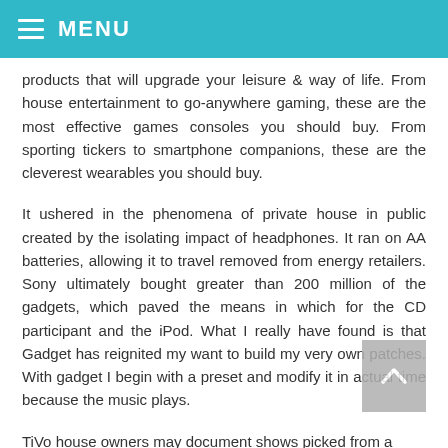MENU
products that will upgrade your leisure & way of life. From house entertainment to go-anywhere gaming, these are the most effective games consoles you should buy. From sporting tickers to smartphone companions, these are the cleverest wearables you should buy.
It ushered in the phenomena of private house in public created by the isolating impact of headphones. It ran on AA batteries, allowing it to travel removed from energy retailers. Sony ultimately bought greater than 200 million of the gadgets, which paved the means in which for the CD participant and the iPod. What I really have found is that Gadget has reignited my want to build my very own patches. With gadget I begin with a preset and modify it in actual time because the music plays.
TiVo house owners may document shows picked from a